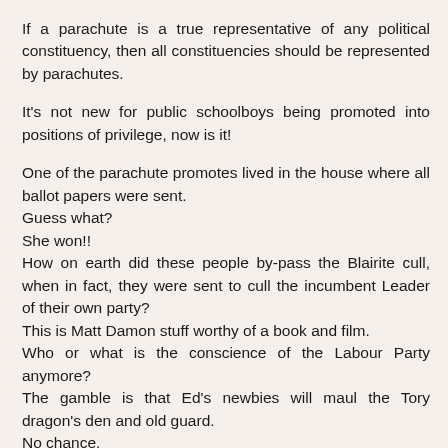If a parachute is a true representative of any political constituency, then all constituencies should be represented by parachutes.
It's not new for public schoolboys being promoted into positions of privilege, now is it!
One of the parachute promotes lived in the house where all ballot papers were sent.
Guess what?
She won!!
How on earth did these people by-pass the Blairite cull, when in fact, they were sent to cull the incumbent Leader of their own party?
This is Matt Damon stuff worthy of a book and film.
Who or what is the conscience of the Labour Party anymore?
The gamble is that Ed's newbies will maul the Tory dragon's den and old guard.
No chance.
The Tory secret weapon has this Country running a budget surplus within a couple of years and that sort of